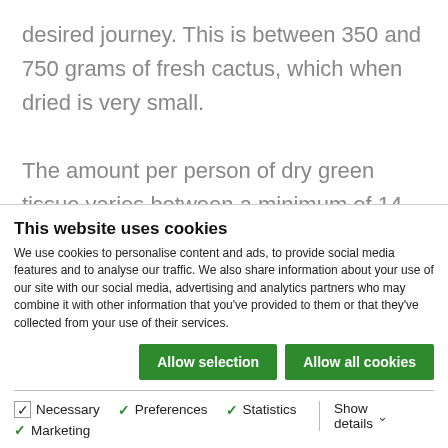desired journey. This is between 350 and 750 grams of fresh cactus, which when dried is very small.

The amount per person of dry green tissue varies between a minimum of 14 grams for a smooth trip; about 25 to 35 grams for a moderate intake, and 35 to 50 grams for a
This website uses cookies
We use cookies to personalise content and ads, to provide social media features and to analyse our traffic. We also share information about your use of our site with our social media, advertising and analytics partners who may combine it with other information that you've provided to them or that they've collected from your use of their services.
Allow selection | Allow all cookies
Necessary  Preferences  Statistics  Show details
Marketing